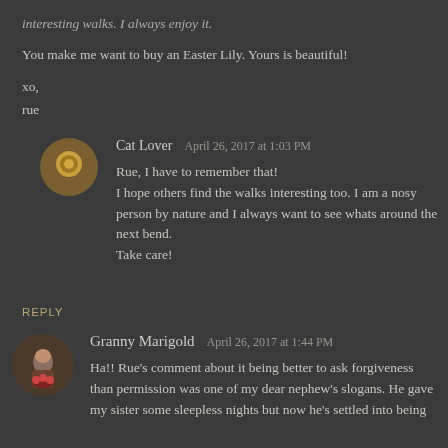interesting walks. I always enjoy it.
You make me want to buy an Easter Lily. Yours is beautiful!
xo,
rue
Cat Lover  April 26, 2017 at 1:03 PM
Rue, I have to remember that! I hope others find the walks interesting too. I am a nosy person by nature and I always want to see whats around the next bend.
Take care!
REPLY
Granny Marigold  April 26, 2017 at 1:44 PM
Ha!! Rue's comment about it being better to ask forgiveness than permission was one of my dear nephew's slogans. He gave my sister some sleepless nights but now he's settled into being